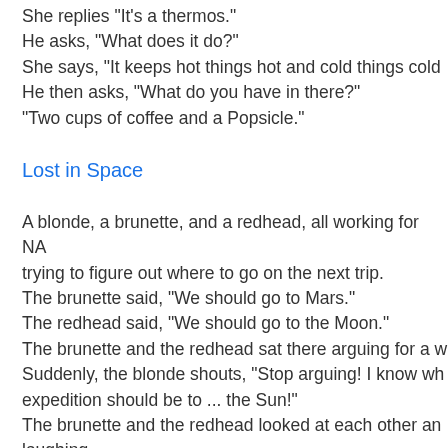She replies "It's a thermos."
He asks, "What does it do?"
She says, "It keeps hot things hot and cold things cold
He then asks, "What do you have in there?"
"Two cups of coffee and a Popsicle."
Lost in Space
A blonde, a brunette, and a redhead, all working for NA trying to figure out where to go on the next trip.
The brunette said, "We should go to Mars."
The redhead said, "We should go to the Moon."
The brunette and the redhead sat there arguing for a w
Suddenly, the blonde shouts, "Stop arguing! I know wh expedition should be to ... the Sun!"
The brunette and the redhead looked at each other an laughing.